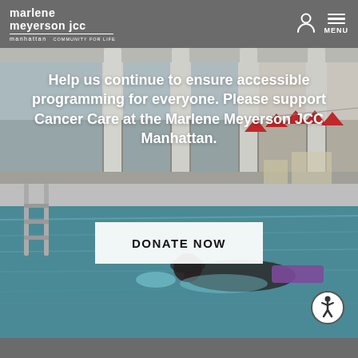marlene meyerson jcc manhattan COMMUNITY FOR LIFE | MENU
[Figure (photo): Indoor swimming pool with large windows, white columns, red triangular flags, and a swimmer doing laps wearing goggles and holding a purple kickboard]
Help us continue to ensure accessible programming for everyone. Please support Cancer Care at the Marlene Meyerson JCC Manhattan.
DONATE NOW